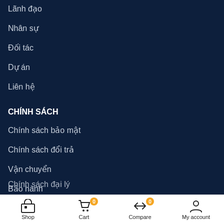Lãnh đạo
Nhân sự
Đối tác
Dự án
Liên hệ
CHÍNH SÁCH
Chính sách bảo mật
Chính sách đổi trả
Vận chuyển
Bảo hành
Chính sách đại lý
Shop  Cart 0  Compare 0  My account